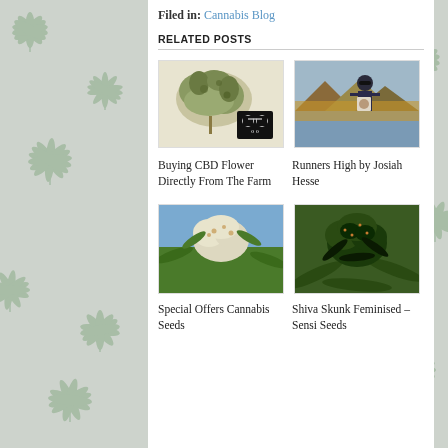Filed in: Cannabis Blog
RELATED POSTS
[Figure (photo): Close-up photo of a CBD cannabis flower bud with a small icon overlay]
Buying CBD Flower Directly From The Farm
[Figure (photo): Person wearing sunglasses outdoors holding a book or photo, with mountain landscape behind]
Runners High by Josiah Hesse
[Figure (photo): Close-up photo of a cannabis plant with white/green flowering buds against blue sky]
Special Offers Cannabis Seeds
[Figure (photo): Close-up photo of a Shiva Skunk cannabis plant with dense green buds and leaves]
Shiva Skunk Feminised – Sensi Seeds